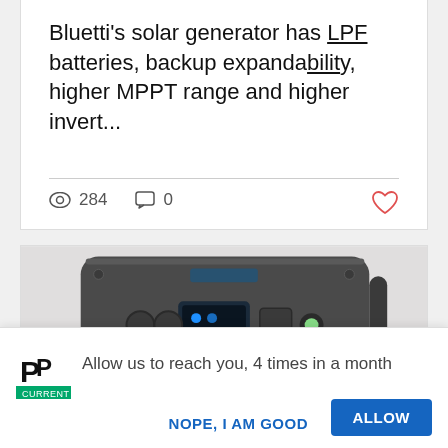Bluetti's solar generator has LPF batteries, backup expandability, higher MPPT range and higher invert...
284  0
[Figure (photo): Photo of a Bluetti solar generator / power station device with display screen and multiple ports, dark gray color]
Allow us to reach you, 4 times in a month
NOPE, I AM GOOD
ALLOW